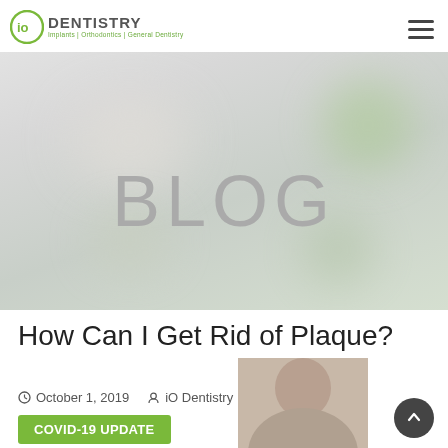iO DENTISTRY — Implants | Orthodontics | General Dentistry
[Figure (screenshot): Blurred dental office/clinic background hero image with BLOG text overlay]
How Can I Get Rid of Plaque?
October 1, 2019   iO Dentistry   Oral Health
COVID-19 UPDATE